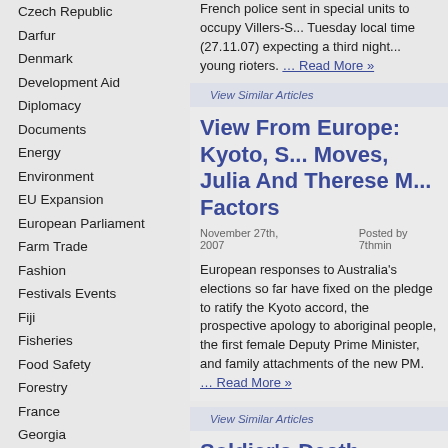Czech Republic
Darfur
Denmark
Development Aid
Diplomacy
Documents
Energy
Environment
EU Expansion
European Parliament
Farm Trade
Fashion
Festivals Events
Fiji
Fisheries
Food Safety
Forestry
France
Georgia
Germany
Greece
French police sent in special units to occupy Villers-S... Tuesday local time (27.11.07) expecting a third night... young rioters. … Read More »
View Similar Articles
View From Europe: Kyoto, S... Moves, Julia And Therese M... Factors
November 27th, 2007    Posted by 7thmin
European responses to Australia's elections so far have fixed on the pledge to ratify the Kyoto accord, the prospective apology to aboriginal people, the first female Deputy Prime Minister, and family attachments of the new PM. … Read More »
View Similar Articles
Soldier's Death
November 27th, 2007    Posted by EUEditor
An Australian Commando serving with the Special Op... Group in Afghanistan has died in fighting against Talib...